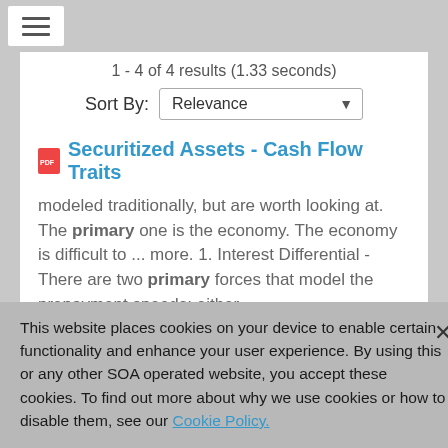1 - 4 of 4 results (1.33 seconds)
Sort By: Relevance
Securitized Assets - Cash Flow Traits
modeled traditionally, but are worth looking at. The primary one is the economy. The economy is difficult to ... more. 1. Interest Differential - There are two primary forces that model the prepayment speeds: either ...
This website places cookies on your device to enable certain functionality and enhance your user experience. By using this or any other SOA operated website, you accept these cookies. To find out more about why we use cookies or how to disable them, see our Cookie Policy.